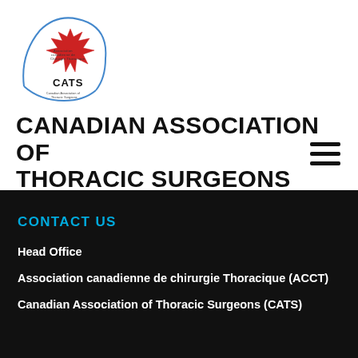[Figure (logo): CATS logo — circular outline with Canadian maple leaf in red and blue, text 'CATS' and 'Canadian Association of Thoracic Surgeons' inscribed]
CANADIAN ASSOCIATION OF THORACIC SURGEONS
CONTACT US
Head Office
Association canadienne de chirurgie Thoracique (ACCT)
Canadian Association of Thoracic Surgeons (CATS)